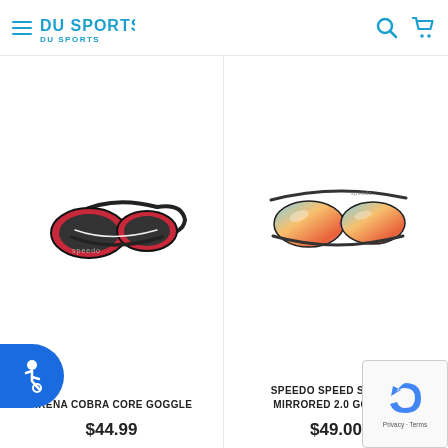DU Sports - navigation header with hamburger menu, logo, search and cart icons
[Figure (photo): Arena Cobra Core swimming goggles with red frame and black lenses with black strap]
ARENA COBRA CORE GOGGLE
$44.99
[Figure (photo): Speedo Speed Socket Mirrored 2.0 swimming goggles with multicolor mirrored lenses and black strap]
SPEEDO SPEED SOCKET MIRRORED 2.0 GOGGLE
$49.00